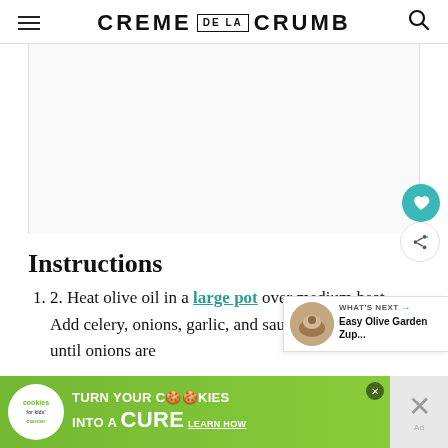CREME DE LA CRUMB
[Figure (photo): Large blank/white image area, likely a recipe photo placeholder]
Instructions
Heat olive oil in a large pot over medium heat. Add celery, onions, garlic, and saute for 2-3 minutes until onions are
[Figure (other): What's Next promo box with thumbnail of Easy Olive Garden Zup... recipe]
[Figure (other): Cookies for Kids' Cancer advertisement banner: turn your COOKIES into a CURE LEARN HOW]